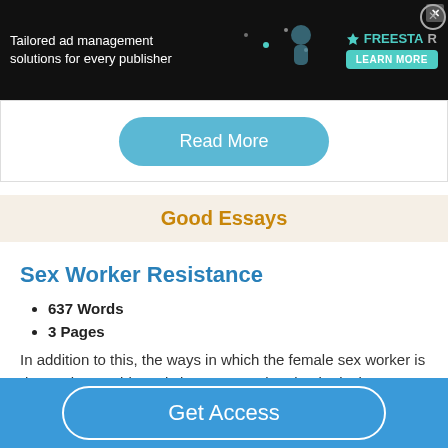[Figure (screenshot): Advertisement banner for Freestar ad management solutions on dark background with colorful graphic and Learn More button]
Read More
Good Essays
Sex Worker Resistance
637 Words
3 Pages
In addition to this, the ways in which the female sex worker is deemed as problematic is seen as related to intrinsic characteristics of her personality, or tied back to early
Get Access